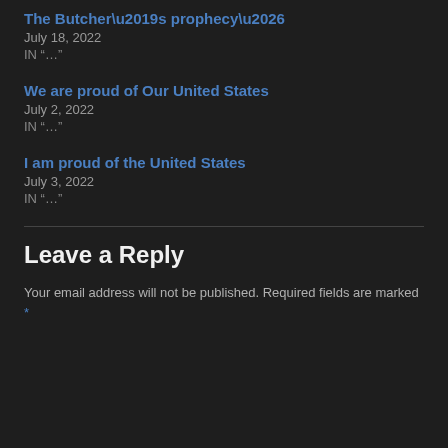The Butcher’s prophecy...
July 18, 2022
IN “…”
We are proud of Our United States
July 2, 2022
IN “…”
I am proud of the United States
July 3, 2022
IN “…”
Leave a Reply
Your email address will not be published. Required fields are marked *